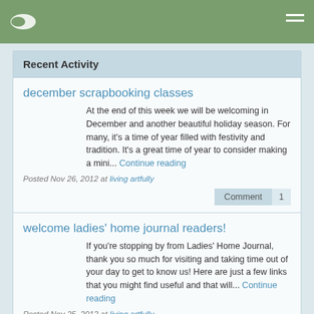Navigation bar with logo and menu icon
Recent Activity
december scrapbooking classes
At the end of this week we will be welcoming in December and another beautiful holiday season. For many, it's a time of year filled with festivity and tradition. It's a great time of year to consider making a mini... Continue reading
Posted Nov 26, 2012 at living artfully
welcome ladies' home journal readers!
If you're stopping by from Ladies' Home Journal, thank you so much for visiting and taking time out of your day to get to know us! Here are just a few links that you might find useful and that will... Continue reading
Posted Nov 25, 2012 at living artfully
10 things: christmas traditions